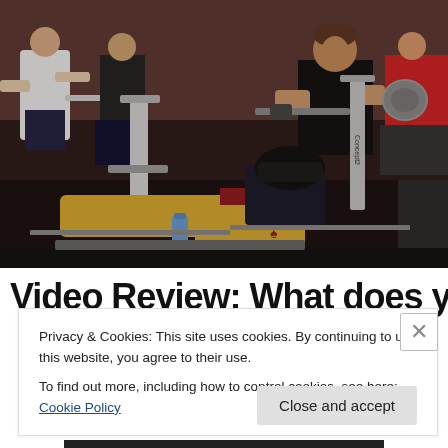[Figure (photo): Multiple athletes using rowing machines (ergometers) in what appears to be an indoor rowing competition. In the foreground, a person wearing yellow shorts and a red/black top is leaning back on the rowing machine. Behind them, a muscular young man in a black tank top is also rowing. Several other rowers are visible in the background.]
Video Review: What does your
Privacy & Cookies: This site uses cookies. By continuing to use this website, you agree to their use.
To find out more, including how to control cookies, see here: Cookie Policy
Close and accept